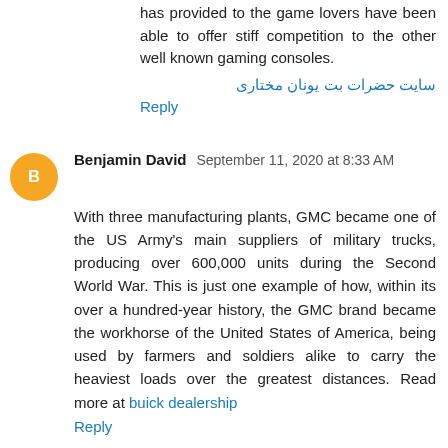has provided to the game lovers have been able to offer stiff competition to the other well known gaming consoles.
سایت حضرات بت یونان مختاری
Reply
Benjamin David September 11, 2020 at 8:33 AM
With three manufacturing plants, GMC became one of the US Army's main suppliers of military trucks, producing over 600,000 units during the Second World War. This is just one example of how, within its over a hundred-year history, the GMC brand became the workhorse of the United States of America, being used by farmers and soldiers alike to carry the heaviest loads over the greatest distances. Read more at buick dealership
Reply
web September 14, 2020 at 9:44 PM
yes, i am thoroughly no examine deliberating this text, and that i simply tormented feeling proclaim that this text is